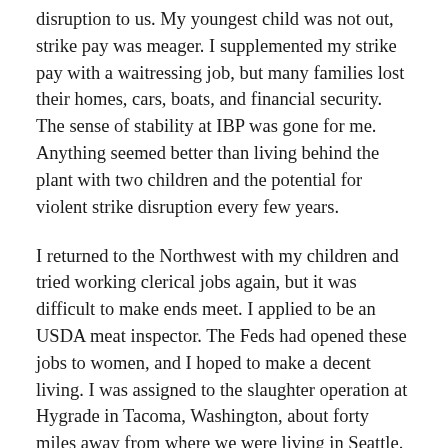disruption to us. My youngest child was not out, strike pay was meager. I supplemented my strike pay with a waitressing job, but many families lost their homes, cars, boats, and financial security. The sense of stability at IBP was gone for me. Anything seemed better than living behind the plant with two children and the potential for violent strike disruption every few years.
I returned to the Northwest with my children and tried working clerical jobs again, but it was difficult to make ends meet. I applied to be an USDA meat inspector. The Feds had opened these jobs to women, and I hoped to make a decent living. I was assigned to the slaughter operation at Hygrade in Tacoma, Washington, about forty miles away from where we were living in Seattle. Each morning, I dropped my youngest daughter off at a sleepy-eyed friend's house around 4:30 a.m. and continued my commute to